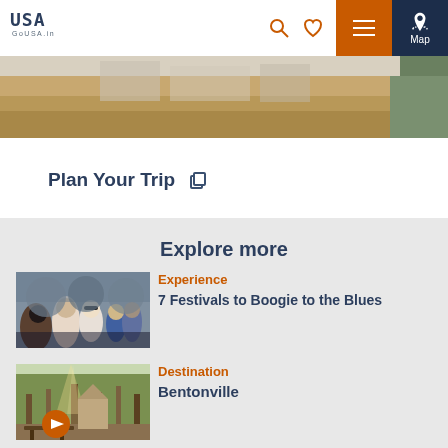GoUSA.in — navigation header with search, heart, menu, and map buttons
[Figure (photo): Hero landscape banner image showing sandy/earthy terrain with green area on right]
Plan Your Trip
Explore more
[Figure (photo): Crowd of people at a festival, two women in foreground smiling wearing sunglasses]
Experience
7 Festivals to Boogie to the Blues
[Figure (photo): Forest path or park scene with tall trees and a bench, with play button overlay]
Destination
Bentonville